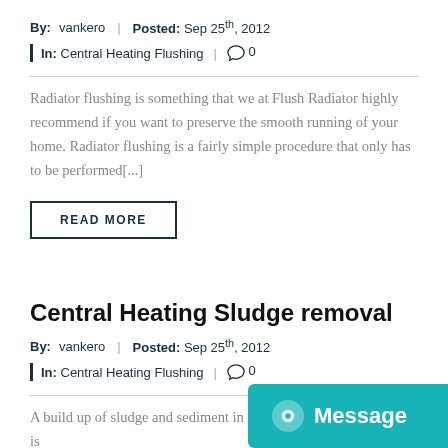By: vankero | Posted: Sep 25th, 2012
In: Central Heating Flushing | 0
Radiator flushing is something that we at Flush Radiator highly recommend if you want to preserve the smooth running of your home. Radiator flushing is a fairly simple procedure that only has to be performed[...]
READ MORE
Central Heating Sludge removal
By: vankero | Posted: Sep 25th, 2012
In: Central Heating Flushing | 0
A build up of sludge and sediment in your central heating system is
Message